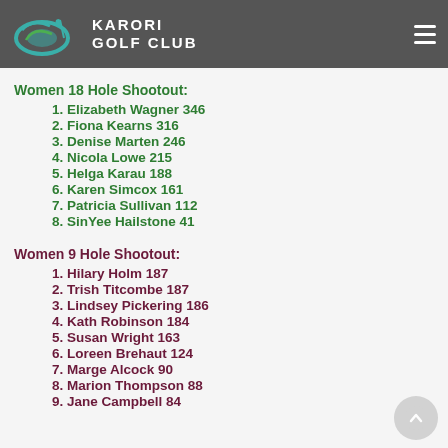KARORI GOLF CLUB
Women 18 Hole Shootout:
1. Elizabeth Wagner 346
2. Fiona Kearns 316
3. Denise Marten 246
4. Nicola Lowe 215
5. Helga Karau 188
6. Karen Simcox 161
7. Patricia Sullivan 112
8. SinYee Hailstone 41
Women 9 Hole Shootout:
1. Hilary Holm 187
2. Trish Titcombe 187
3. Lindsey Pickering 186
4. Kath Robinson 184
5. Susan Wright 163
6. Loreen Brehaut 124
7. Marge Alcock 90
8. Marion Thompson 88
9. Jane Campbell 84